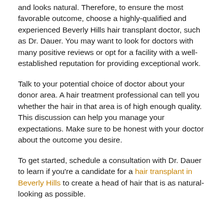and looks natural. Therefore, to ensure the most favorable outcome, choose a highly-qualified and experienced Beverly Hills hair transplant doctor, such as Dr. Dauer. You may want to look for doctors with many positive reviews or opt for a facility with a well-established reputation for providing exceptional work.
Talk to your potential choice of doctor about your donor area. A hair treatment professional can tell you whether the hair in that area is of high enough quality. This discussion can help you manage your expectations. Make sure to be honest with your doctor about the outcome you desire.
To get started, schedule a consultation with Dr. Dauer to learn if you're a candidate for a hair transplant in Beverly Hills to create a head of hair that is as natural-looking as possible.